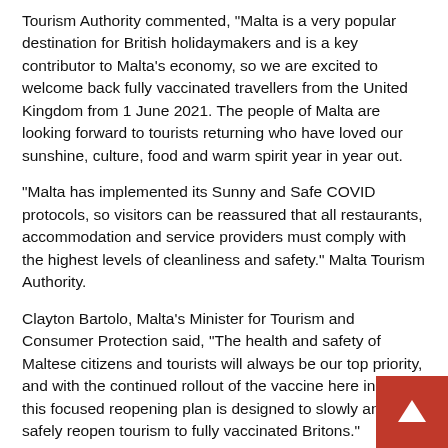Tourism Authority commented, "Malta is a very popular destination for British holidaymakers and is a key contributor to Malta's economy, so we are excited to welcome back fully vaccinated travellers from the United Kingdom from 1 June 2021. The people of Malta are looking forward to tourists returning who have loved our sunshine, culture, food and warm spirit year in year out.
"Malta has implemented its Sunny and Safe COVID protocols, so visitors can be reassured that all restaurants, accommodation and service providers must comply with the highest levels of cleanliness and safety." Malta Tourism Authority.
Clayton Bartolo, Malta's Minister for Tourism and Consumer Protection said, "The health and safety of Maltese citizens and tourists will always be our top priority, and with the continued rollout of the vaccine here in Malta, this focused reopening plan is designed to slowly and safely reopen tourism to fully vaccinated Britons."
British travellers will be able to visit the archipelago, comprised of Malta, Gozo and Comino - for leisure and business trips, where visitors can enjoy the sights of the islands. With many travellers looking forward to restrictions easing and the allure of future trips to Malta on the horizon,
[Figure (other): Red scroll-to-top button with white upward arrow triangle in bottom-right corner]